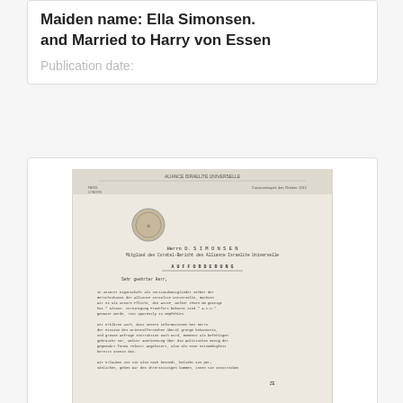Maiden name: Ella Simonsen. and Married to Harry von Essen
Publication date:
[Figure (photo): Scanned image of a historical letter document with German text, letterhead, and a small emblem/seal. The letter appears to be a formal typed correspondence.]
Letter from Alliance Israélite Universelle to Simonsen, David
Creator: